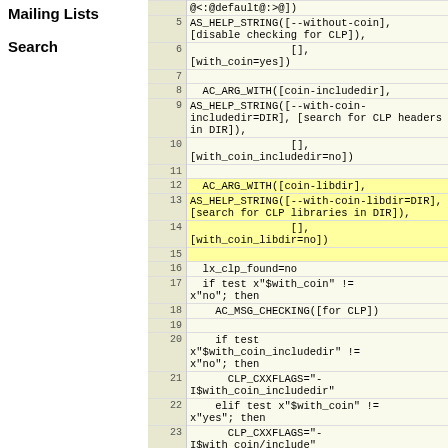Mailing Lists
Search
[Figure (screenshot): Source code viewer showing lines 5-24 of a shell/autoconf configure script with line numbers and highlighted sections. The code includes AS_HELP_STRING and AC_ARG_WITH macros for --without-coin and coin-includedir and coin-libdir options, followed by shell script logic checking for CLP library.]